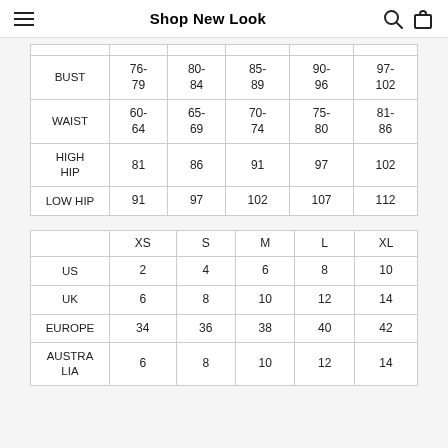Shop New Look
|  | 76-79 | 80-84 | 85-89 | 90-96 | 97-102 |
| --- | --- | --- | --- | --- | --- |
| BUST | 76-79 | 80-84 | 85-89 | 90-96 | 97-102 |
| WAIST | 60-64 | 65-69 | 70-74 | 75-80 | 81-86 |
| HIGH HIP | 81 | 86 | 91 | 97 | 102 |
| LOW HIP | 91 | 97 | 102 | 107 | 112 |
|  | XS | S | M | L | XL |
| --- | --- | --- | --- | --- | --- |
| US | 2 | 4 | 6 | 8 | 10 |
| UK | 6 | 8 | 10 | 12 | 14 |
| EUROPE | 34 | 36 | 38 | 40 | 42 |
| AUSTRALIA | 6 | 8 | 10 | 12 | 14 |